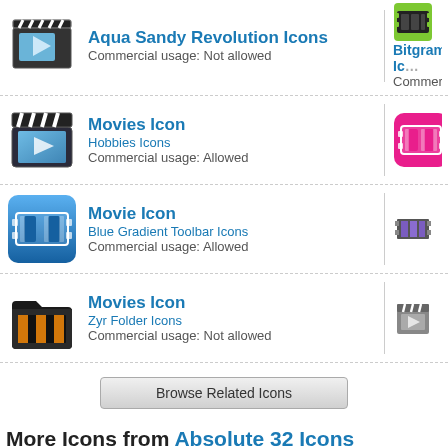Aqua Sandy Revolution Icons / Commercial usage: Not allowed | Bitgram Icons / Commercial...
Movies Icon / Hobbies Icons / Commercial usage: Allowed | Movie Icon / Web Pink E... / Commercial...
Movie Icon / Blue Gradient Toolbar Icons / Commercial usage: Allowed | Movie Icon / Max Mini Ic... / Commercial...
Movies Icon / Zyr Folder Icons / Commercial usage: Not allowed | Movie Icon / 16x16 Free... / Commercial...
Browse Related Icons
More Icons from Absolute 32 Icons
Battery Icon / Download Windows icon / Download PNG files | Mail Icon / Download Win... / Download PNG...
Adobe Fireworks Icon / Download Windows icon | Calendar Icon / Download...